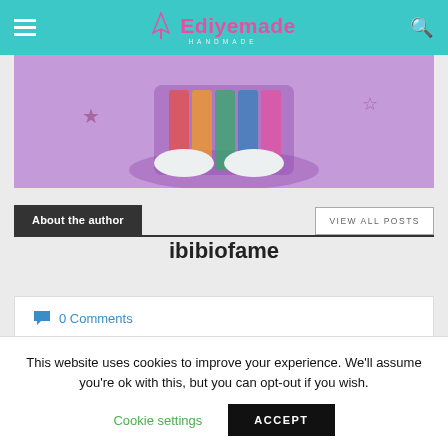Ediyemade Handmade
[Figure (illustration): Colorful illustrated character or food item in a purple/pink background with star decorations]
About the author
VIEW ALL POSTS
ibibiofame
0 Comments
This website uses cookies to improve your experience. We'll assume you're ok with this, but you can opt-out if you wish.
Cookie settings
ACCEPT